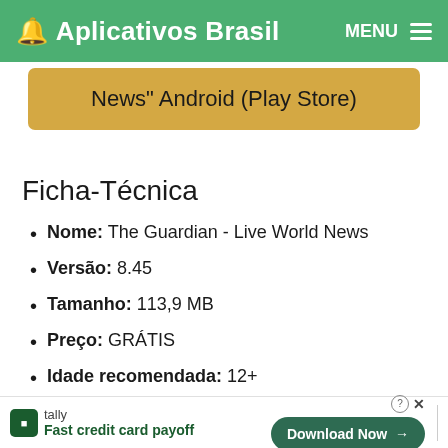🔔 Aplicativos Brasil  MENU ≡
News" Android (Play Store)
Ficha-Técnica
Nome: The Guardian - Live World News
Versão: 8.45
Tamanho: 113,9 MB
Preço: GRÁTIS
Idade recomendada: 12+
Tally  Fast credit card payoff  Download Now →